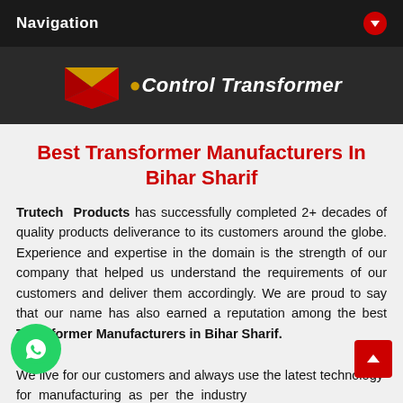Navigation
[Figure (logo): eControl Transformer banner logo with red chevron/envelope shape on dark background]
Best Transformer Manufacturers In Bihar Sharif
Trutech Products has successfully completed 2+ decades of quality products deliverance to its customers around the globe. Experience and expertise in the domain is the strength of our company that helped us understand the requirements of our customers and deliver them accordingly. We are proud to say that our name has also earned a reputation among the best Transformer Manufacturers in Bihar Sharif.
We live for our customers and always use the latest technology for manufacturing as per the industry